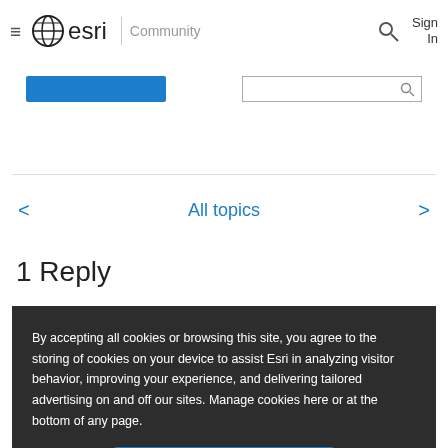≡ esri | Community   🔍  Sign In
All topics
1 Reply
By accepting all cookies or browsing this site, you agree to the storing of cookies on your device to assist Esri in analyzing visitor behavior, improving your experience, and delivering tailored advertising on and off our sites. Manage cookies here or at the bottom of any page.
Accept All Cookies